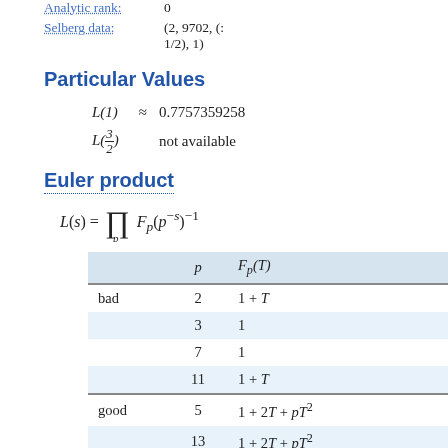Analytic rank: 0
Selberg data: (2, 9702, (: 1/2), 1)
Particular Values
Euler product
|  | p | F_p(T) |
| --- | --- | --- |
| bad | 2 | 1 + T |
|  | 3 | 1 |
|  | 7 | 1 |
|  | 11 | 1 + T |
| good | 5 | 1 + 2T + pT² |
|  | 13 | 1 + 2T + pT² |